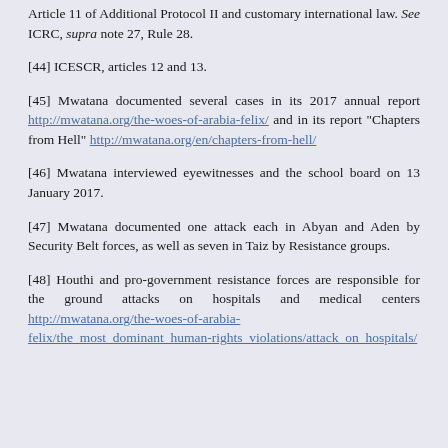Article 11 of Additional Protocol II and customary international law. See ICRC, supra note 27, Rule 28.
[44] ICESCR, articles 12 and 13.
[45] Mwatana documented several cases in its 2017 annual report http://mwatana.org/the-woes-of-arabia-felix/ and in its report "Chapters from Hell" http://mwatana.org/en/chapters-from-hell/
[46] Mwatana interviewed eyewitnesses and the school board on 13 January 2017.
[47] Mwatana documented one attack each in Abyan and Aden by Security Belt forces, as well as seven in Taiz by Resistance groups.
[48] Houthi and pro-government resistance forces are responsible for the ground attacks on hospitals and medical centers http://mwatana.org/the-woes-of-arabia-felix/the_most_dominant_human-rights_violations/attack_on_hospitals/